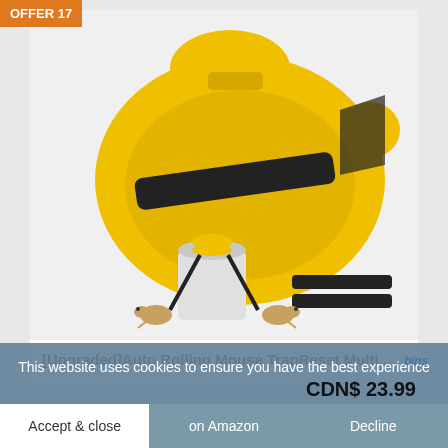OFFER 17
[Figure (photo): Yellow rolling mouse trap lid with black rotating paddle bar, shown with a white bucket, two ramp rails, and two mice at the base of the ramps.]
[Upgraded]Auto Rolling Mouse TrapâReset Multi...
This website uses cookies to ensure you have the best experience
CDN$ 23.99
Accept & close
on Amazon
Decline